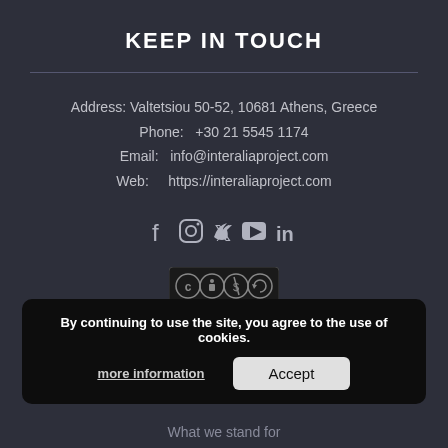KEEP IN TOUCH
Address: Valtetsiou 50-52, 10681 Athens, Greece
Phone:   +30 21 5545 1174
Email:   info@interaliaproject.com
Web:     https://interaliaproject.com
[Figure (illustration): Social media icons: Facebook, Instagram, Twitter, YouTube, LinkedIn]
[Figure (logo): Creative Commons BY NC SA license badge]
INTER ALIA
By continuing to use the site, you agree to the use of cookies.
more information
Accept
What we stand for